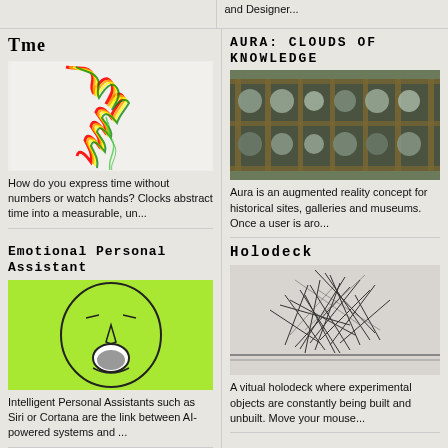and Designer...
Tme
[Figure (illustration): Colorful fluid simulation image showing rainbow-colored wave forms on a light background with a green wispy line]
How do you express time without numbers or watch hands? Clocks abstract time into a measurable, un...
AURA: CLOUDS OF KNOWLEDGE
[Figure (photo): Dark ornate cabinet or shelf structure with circular stone or ceramic objects arranged in a grid pattern, brownish-green aged finish]
Aura is an augmented reality concept for historical sites, galleries and museums. Once a user is aro...
Emotional Personal Assistant
[Figure (illustration): Line drawing of a face with an open mouth expression on a bright green/yellow-green background]
Intelligent Personal Assistants such as Siri or Cortana are the link between AI-powered systems and ...
Holodeck
[Figure (photo): Black and white image of scattered thin sticks or needles arranged in a chaotic pattern on a light background]
A vitual holodeck where experimental objects are constantly being built and unbuilt. Move your mouse...